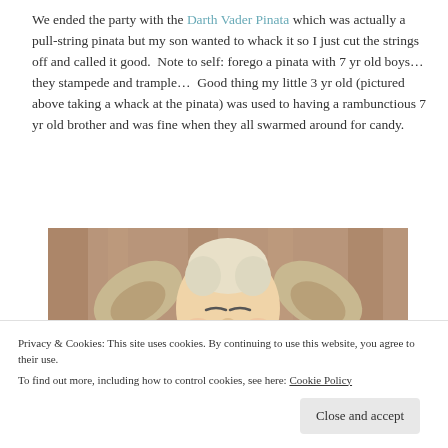We ended the party with the Darth Vader Pinata which was actually a pull-string pinata but my son wanted to whack it so I just cut the strings off and called it good.  Note to self: forego a pinata with 7 yr old boys… they stampede and trample…  Good thing my little 3 yr old (pictured above taking a whack at the pinata) was used to having a rambunctious 7 yr old brother and was fine when they all swarmed around for candy.
[Figure (photo): Photo of a child wearing a Yoda costume/mask, showing large Yoda ears and face, against a brown wooden background.]
Privacy & Cookies: This site uses cookies. By continuing to use this website, you agree to their use.
To find out more, including how to control cookies, see here: Cookie Policy